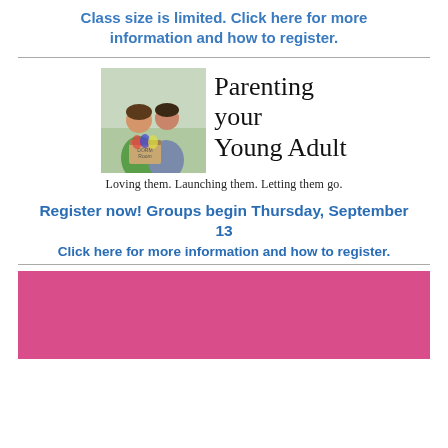Class size is limited. Click here for more information and how to register.
[Figure (illustration): Two women hugging, one holding a box labeled 'Dorm Room', with text 'Parenting your Young Adult' and subtitle 'Loving them. Launching them. Letting them go.']
Register now! Groups begin Thursday, September 13
Click here for more information and how to register.
[Figure (illustration): Pink/magenta solid color block at bottom of page]